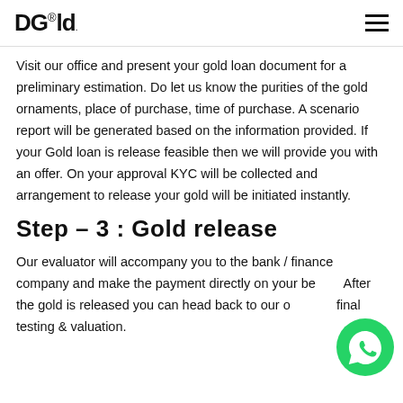DGold
Visit our office and present your gold loan document for a preliminary estimation. Do let us know the purities of the gold ornaments, place of purchase, time of purchase. A scenario report will be generated based on the information provided. If your Gold loan is release feasible then we will provide you with an offer. On your approval KYC will be collected and arrangement to release your gold will be initiated instantly.
Step – 3 : Gold release
Our evaluator will accompany you to the bank / finance company and make the payment directly on your behalf. After the gold is released you can head back to our office for final testing & valuation.
[Figure (logo): WhatsApp chat button icon — green circle with white phone handset]